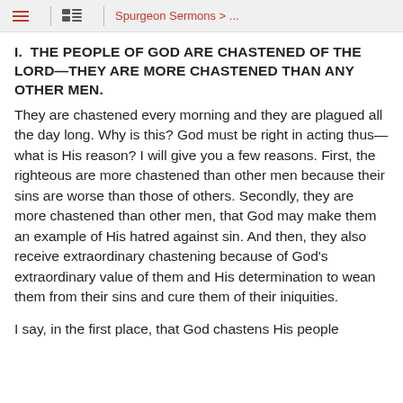Spurgeon Sermons > ...
I. THE PEOPLE OF GOD ARE CHASTENED OF THE LORD—THEY ARE MORE CHASTENED THAN ANY OTHER MEN.
They are chastened every morning and they are plagued all the day long. Why is this? God must be right in acting thus—what is His reason? I will give you a few reasons. First, the righteous are more chastened than other men because their sins are worse than those of others. Secondly, they are more chastened than other men, that God may make them an example of His hatred against sin. And then, they also receive extraordinary chastening because of God's extraordinary value of them and His determination to wean them from their sins and cure them of their iniquities.
I say, in the first place, that God chastens His people